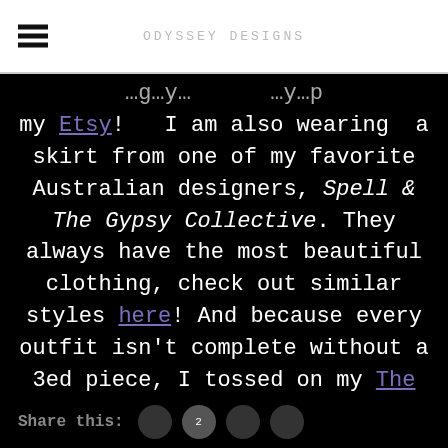ODYSSEY DESIGNS
my Etsy!  I am also wearing  a skirt from one of my favorite Australian designers, Spell & The Gypsy Collective. They always have the most beautiful clothing, check out similar styles here! And because every outfit isn't complete without a 3ed piece, I tossed on my The Stardust fedora from Lack of Color.
Share this:  2